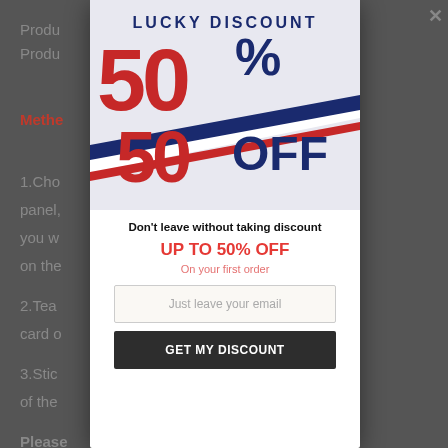Product... Product...
Method...
1.Cho... panel,... ace you w... older on the...
2.Tea... zer card o...
3.Stic... ide of the...
Please... is as
[Figure (infographic): Lucky Discount popup modal showing 50% OFF promotional graphic with red and blue styling, diagonal stripes, bold large text '50%' and '50 OFF', header 'LUCKY DISCOUNT']
Don't leave without taking discount
UP TO 50% OFF
On your first order
Just leave your email
GET MY DISCOUNT